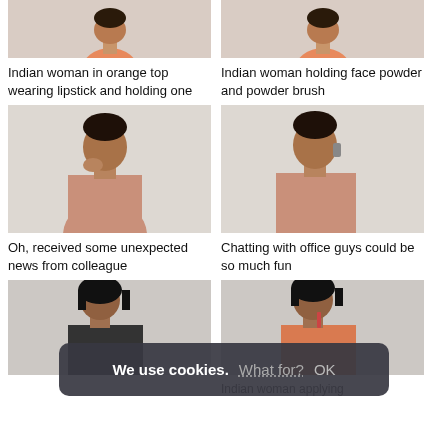[Figure (photo): Indian woman in orange top wearing lipstick and holding one - top portion cropped]
Indian woman in orange top wearing lipstick and holding one
[Figure (photo): Indian woman holding face powder and powder brush - top portion cropped]
Indian woman holding face powder and powder brush
[Figure (photo): Indian woman in pink top looking at phone with hand over mouth, surprised expression]
Oh, received some unexpected news from colleague
[Figure (photo): Indian woman in pink top chatting on phone, smiling]
Chatting with office guys could be so much fun
[Figure (photo): Indian woman in dark top smiling, partially visible]
[Figure (photo): Indian woman in orange top applying lipstick, partially visible]
Indian woman applying
We use cookies. What for? OK